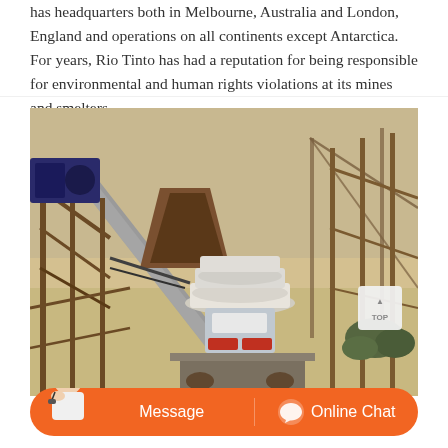has headquarters both in Melbourne, Australia and London, England and operations on all continents except Antarctica. For years, Rio Tinto has had a reputation for being responsible for environmental and human rights violations at its mines and smelters.
[Figure (photo): Aerial or elevated view of a mining operation showing industrial crushing/processing equipment with conveyor belts, metal scaffolding/support structures, and a cone crusher machine with red and white markings in the center. The background shows dry, arid terrain.]